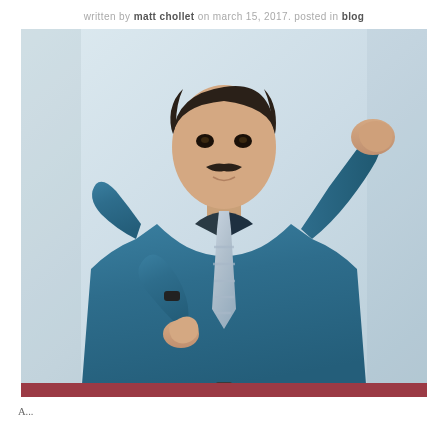written by matt chollet on march 15, 2017. posted in blog
[Figure (photo): A man wearing a teal/blue dress shirt and striped tie, posed with both arms raised in a dynamic gesture against a light gray background. He has a mustache and appears to be dancing or presenting. A reddish-maroon bar appears at the bottom of the image.]
A...